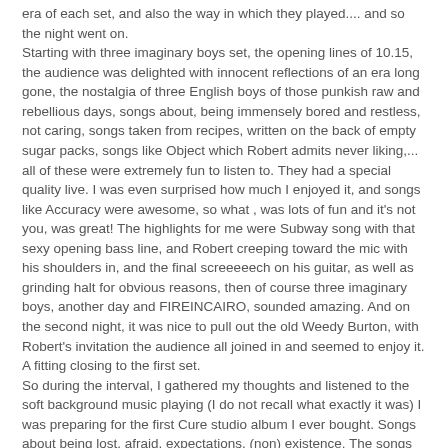era of each set, and also the way in which they played.... and so the night went on. Starting with three imaginary boys set, the opening lines of 10.15, the audience was delighted with innocent reflections of an era long gone, the nostalgia of three English boys of those punkish raw and rebellious days, songs about, being immensely bored and restless, not caring, songs taken from recipes, written on the back of empty sugar packs, songs like Object which Robert admits never liking,... all of these were extremely fun to listen to. They had a special quality live. I was even surprised how much I enjoyed it, and songs like Accuracy were awesome, so what , was lots of fun and it's not you, was great! The highlights for me were Subway song with that sexy opening bass line, and Robert creeping toward the mic with his shoulders in, and the final screeeeech on his guitar, as well as grinding halt for obvious reasons, then of course three imaginary boys, another day and FIREINCAIRO, sounded amazing. And on the second night, it was nice to pull out the old Weedy Burton, with Robert's invitation the audience all joined in and seemed to enjoy it. A fitting closing to the first set. So during the interval, I gathered my thoughts and listened to the soft background music playing (I do not recall what exactly it was) I was preparing for the first Cure studio album I ever bought. Songs about being lost, afraid, expectations, (non) existence. The songs on it were where my love for the cure...